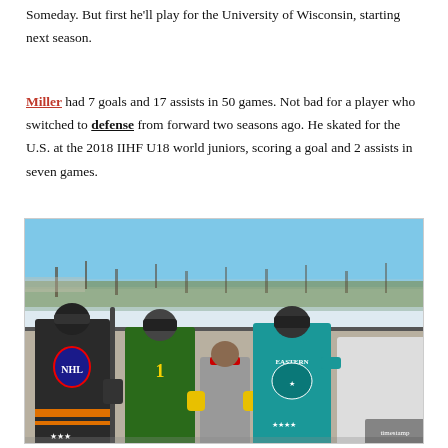Someday. But first he'll play for the University of Wisconsin, starting next season.
Miller had 7 goals and 17 assists in 50 games. Not bad for a player who switched to defense from forward two seasons ago. He skated for the U.S. at the 2018 IIHF U18 world juniors, scoring a goal and 2 assists in seven games.
[Figure (photo): Four people standing outdoors on or near an ice rink in winter, wearing hockey jerseys. From left: person in black NHL jersey holding a hockey stick, person in green jersey, shorter person (child) in gray hoodie, person in teal Eastern Conference All-Star jersey. Trees and blue sky visible in background.]